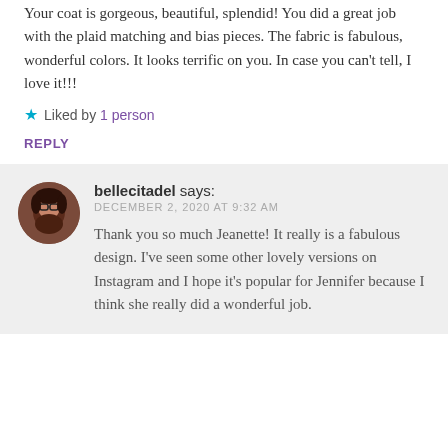Your coat is gorgeous, beautiful, splendid! You did a great job with the plaid matching and bias pieces. The fabric is fabulous, wonderful colors. It looks terrific on you. In case you can't tell, I love it!!!
★ Liked by 1person
REPLY
bellecitadel says: DECEMBER 2, 2020 AT 9:32 AM
Thank you so much Jeanette! It really is a fabulous design. I've seen some other lovely versions on Instagram and I hope it's popular for Jennifer because I think she really did a wonderful job.